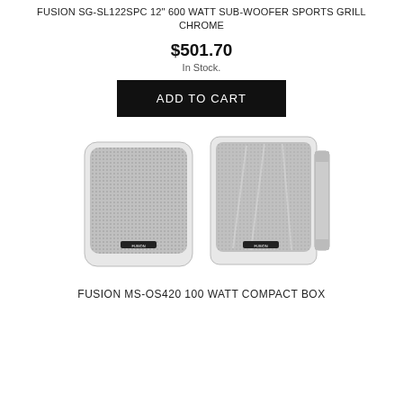FUSION SG-SL122SPC 12" 600 WATT SUB-WOOFER SPORTS GRILL CHROME
$501.70
In Stock.
ADD TO CART
[Figure (photo): Two white Fusion compact box speakers shown side by side, one facing front-left and one facing front-right with a wall bracket visible on right speaker.]
FUSION MS-OS420 100 WATT COMPACT BOX